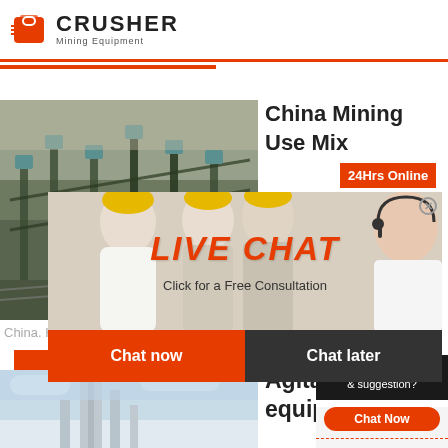[Figure (logo): Crusher Mining Equipment logo with red shopping bag icon and bold CRUSHER text]
[Figure (photo): Mining conveyor belt and equipment outdoor facility photo]
China Mining Use Mix
[Figure (infographic): Live chat popup overlay with workers in hard hats, LIVE CHAT heading, Chat now and Chat later buttons]
China. HS C
[Figure (infographic): 24Hrs Online badge in red]
[Figure (infographic): Right sidebar with Need questions & suggestion, Chat Now button, Enquiry link, limingjlmofen@sina.com email]
Read More
[Figure (photo): Industrial facility/tower photo for Agitation equipment]
Agitation equipment